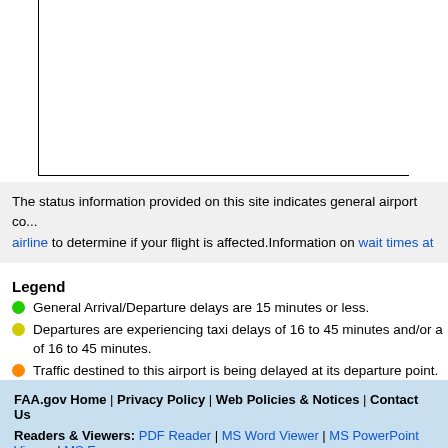The status information provided on this site indicates general airport co... airline to determine if your flight is affected. Information on wait times at...
Legend
General Arrival/Departure delays are 15 minutes or less.
Departures are experiencing taxi delays of 16 to 45 minutes and/or a of 16 to 45 minutes.
Traffic destined to this airport is being delayed at its departure point. may be affected.
Departures are experiencing taxi delays greater than 45 minutes and delays greater than 45 minutes.
This denotes a closed airport!
FAA.gov Home | Privacy Policy | Web Policies & Notices | Contact Us   Readers & Viewers: PDF Reader | MS Word Viewer | MS PowerPoint Viewer | MS Exc...